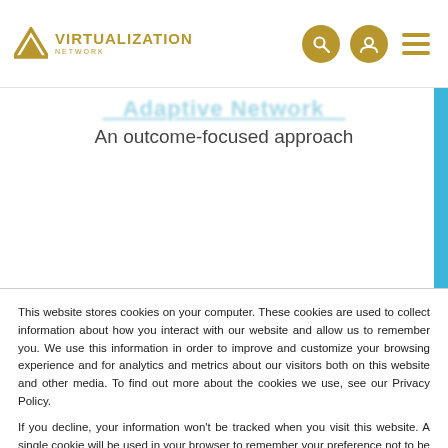Virtualization Network
An outcome-focused approach
This website stores cookies on your computer. These cookies are used to collect information about how you interact with our website and allow us to remember you. We use this information in order to improve and customize your browsing experience and for analytics and metrics about our visitors both on this website and other media. To find out more about the cookies we use, see our Privacy Policy.
If you decline, your information won't be tracked when you visit this website. A single cookie will be used in your browser to remember your preference not to be tracked.
Accept
Decline